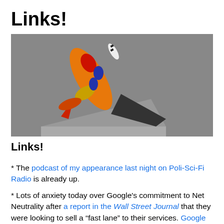Links!
[Figure (photo): A decorative rocket ship sculpture made of glass, with orange body, red fins, and blue teardrop ornaments, mounted on a metallic triangular base.]
Links!
* The podcast of my appearance last night on Poli-Sci-Fi Radio is already up.
* Lots of anxiety today over Google’s commitment to Net Neutrality after a report in the Wall Street Journal that they were looking to sell a “fast lane” to their services. Google